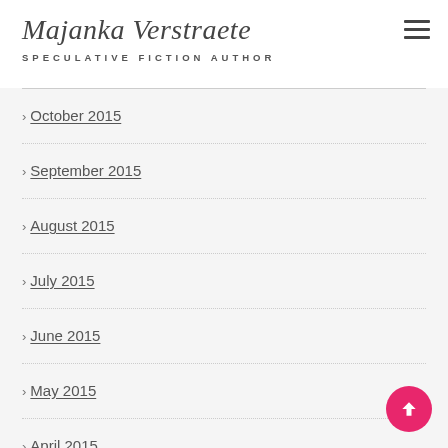Majanka Verstraete SPECULATIVE FICTION AUTHOR
October 2015
September 2015
August 2015
July 2015
June 2015
May 2015
April 2015